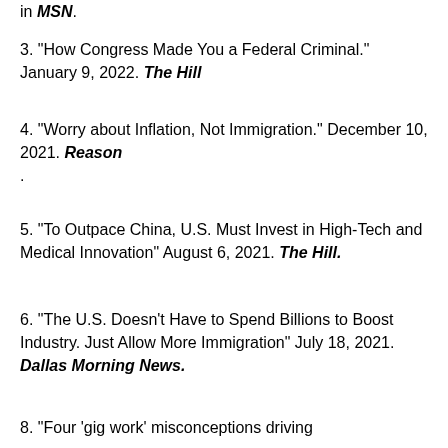in MSN.
3. "How Congress Made You a Federal Criminal." January 9, 2022. The Hill
4. "Worry about Inflation, Not Immigration." December 10, 2021. Reason.
5. "To Outpace China, U.S. Must Invest in High-Tech and Medical Innovation" August 6, 2021. The Hill.
6. "The U.S. Doesn't Have to Spend Billions to Boost Industry. Just Allow More Immigration" July 18, 2021. Dallas Morning News.
7. "How Portraits Can Change Immigration Policy" June 2, 2021. Discourse Magazine.
8. "Four 'gig work' misconceptions driving...